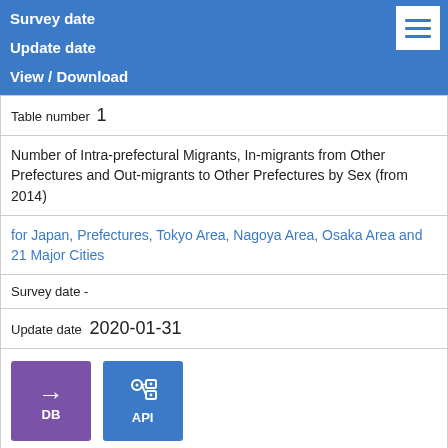Survey date
Update date
View / Download
Table number 1
Number of Intra-prefectural Migrants, In-migrants from Other Prefectures and Out-migrants to Other Prefectures by Sex (from 2014)
for Japan, Prefectures, Tokyo Area, Nagoya Area, Osaka Area and 21 Major Cities
Survey date  -
Update date  2020-01-31
DB  API